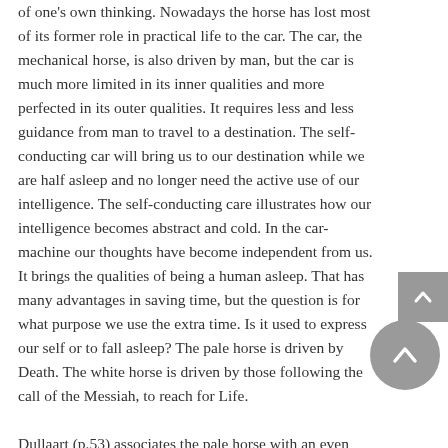of one's own thinking. Nowadays the horse has lost most of its former role in practical life to the car. The car, the mechanical horse, is also driven by man, but the car is much more limited in its inner qualities and more perfected in its outer qualities. It requires less and less guidance from man to travel to a destination. The self-conducting car will bring us to our destination while we are half asleep and no longer need the active use of our intelligence. The self-conducting care illustrates how our intelligence becomes abstract and cold. In the car-machine our thoughts have become independent from us. It brings the qualities of being a human asleep. That has many advantages in saving time, but the question is for what purpose we use the extra time. Is it used to express our self or to fall asleep? The pale horse is driven by Death. The white horse is driven by those following the call of the Messiah, to reach for Life.

Dullaart (p.53) associates the pale horse with an even